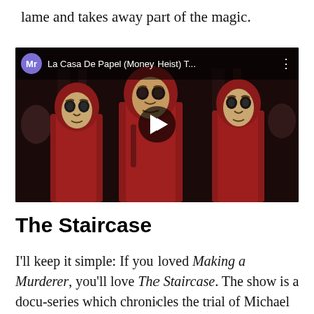lame and takes away part of the magic.
[Figure (screenshot): Embedded video thumbnail showing three figures wearing red jumpsuits and Salvador Dali masks from La Casa De Papel (Money Heist), with a play button overlay and channel header showing 'Mr' avatar and title 'La Casa De Papel (Money Heist) T...']
The Staircase
I'll keep it simple: If you loved Making a Murderer, you'll love The Staircase. The show is a docu-series which chronicles the trial of Michael